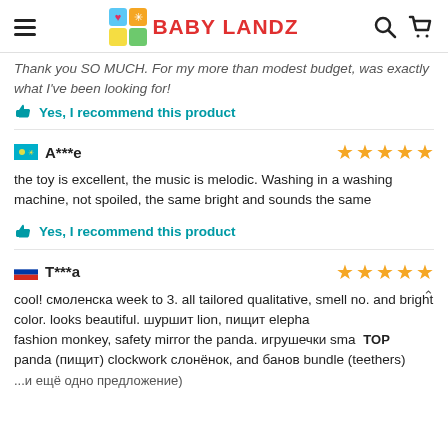BABY LANDZ
Thank you SO MUCH. For my more than modest budget, was exactly what I've been looking for!
Yes, I recommend this product
A***e — 5 stars
the toy is excellent, the music is melodic. Washing in a washing machine, not spoiled, the same bright and sounds the same
Yes, I recommend this product
T***a — 5 stars
cool! смоленска week to 3. all tailored qualitative, smell no. and bright color. looks beautiful. шуршит lion, пищит elepha fashion monkey, safety mirror the panda. игрушечки sma panda (пищит) clockwork слонёнок, and банов bundle (teethe rs) ...